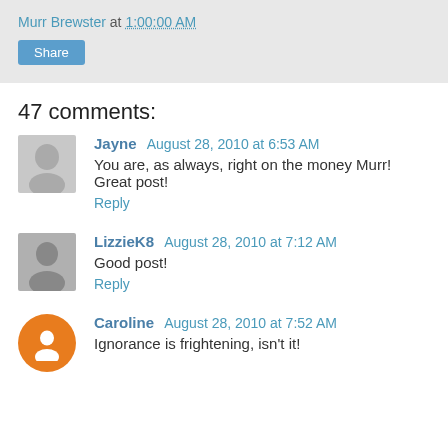Murr Brewster at 1:00:00 AM
Share
47 comments:
Jayne  August 28, 2010 at 6:53 AM
You are, as always, right on the money Murr! Great post!
Reply
LizzieK8  August 28, 2010 at 7:12 AM
Good post!
Reply
Caroline  August 28, 2010 at 7:52 AM
Ignorance is frightening, isn't it!